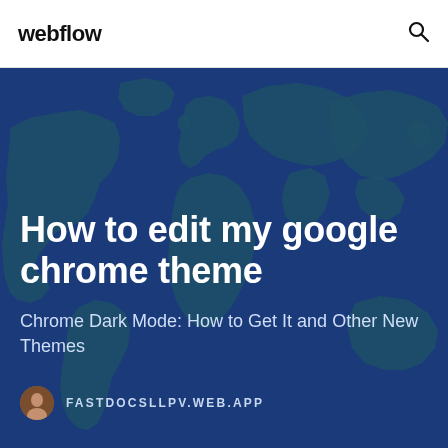webflow
[Figure (illustration): World map illustration with dark blue background showing continental outlines in a slightly lighter teal-blue color, used as a decorative hero background image]
How to edit my google chrome theme
Chrome Dark Mode: How to Get It and Other New Themes
FASTDOCSLLPV.WEB.APP